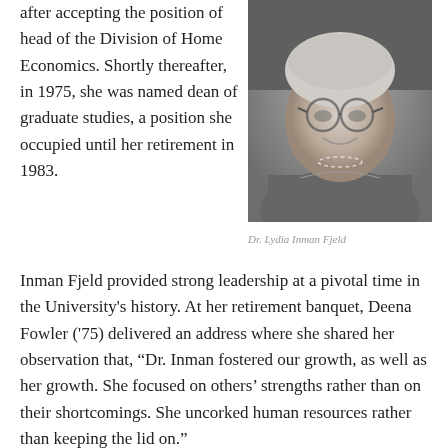after accepting the position of head of the Division of Home Economics. Shortly thereafter, in 1975, she was named dean of graduate studies, a position she occupied until her retirement in 1983.
[Figure (photo): Black and white portrait photograph of Dr. Lydia Inman Fjeld, an older woman wearing glasses and a pearl necklace, smiling.]
Dr. Lydia Inman Fjeld
Inman Fjeld provided strong leadership at a pivotal time in the University's history. At her retirement banquet, Deena Fowler ('75) delivered an address where she shared her observation that, “Dr. Inman fostered our growth, as well as her growth. She focused on others’ strengths rather than on their shortcomings. She uncorked human resources rather than keeping the lid on.”